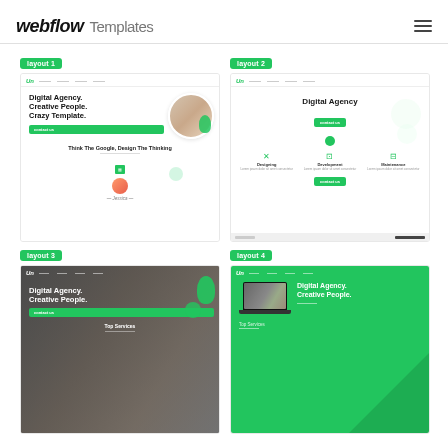webflow Templates
[Figure (screenshot): Layout 1 - Digital Agency website template with white background, circular profile photo, green blob decoration, and hero text 'Digital Agency. Creative People. Crazy Template.']
[Figure (screenshot): Layout 2 - Digital Agency website template with centered layout, 'Digital Agency' heading, three service icons for Designing, Development, and Maintenance, and green CTA button]
[Figure (screenshot): Layout 3 - Digital Agency website template with dark photo background, white text 'Digital Agency. Creative People.', and green decorative elements]
[Figure (screenshot): Layout 4 - Digital Agency website template with green background, laptop mockup showing 'Digital Agency. Creative People.' text in white]